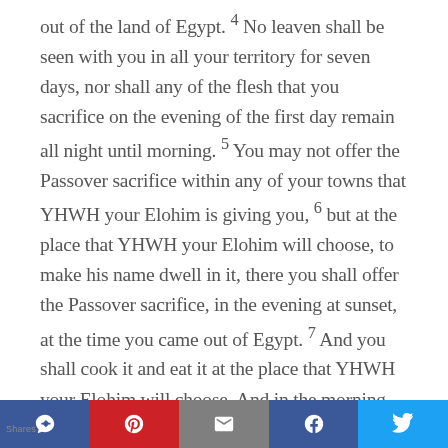out of the land of Egypt. 4 No leaven shall be seen with you in all your territory for seven days, nor shall any of the flesh that you sacrifice on the evening of the first day remain all night until morning. 5 You may not offer the Passover sacrifice within any of your towns that YHWH your Elohim is giving you, 6 but at the place that YHWH your Elohim will choose, to make his name dwell in it, there you shall offer the Passover sacrifice, in the evening at sunset, at the time you came out of Egypt. 7 And you shall cook it and eat it at the place that YHWH your Elohim will choose. And in the morning you shall turn and go to your tents. 8 For six days you shall eat unleavened bread,
Shares | social share buttons